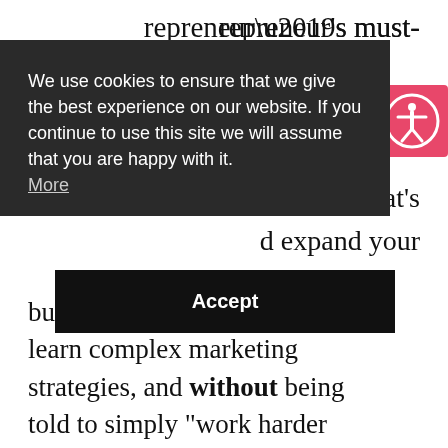repreneur’s must-
We use cookies to ensure that we give the best experience on our website. If you continue to use this site we will assume that you are happy with it. More
of gold that’s
d expand your
Accept
business, without having to learn complex marketing strategies, and without being told to simply “work harder than everyone else”, then “Big Ideas… for Small Businesses” could be the “lightbulb moment” you’ve been waiting for!
It’s definitely one of the best books for aspiring entrepreneurs.
89